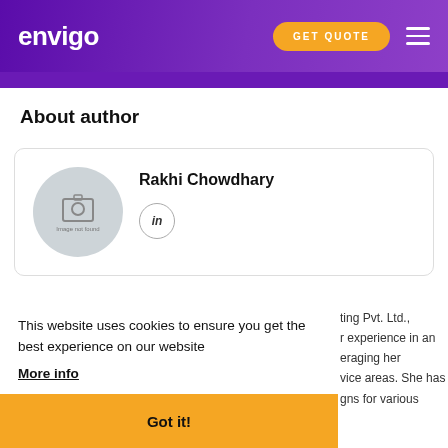envigo | GET QUOTE
About author
[Figure (screenshot): Author card with avatar placeholder (image not found), name Rakhi Chowdhary, and LinkedIn icon badge]
This website uses cookies to ensure you get the best experience on our website More info
Got it!